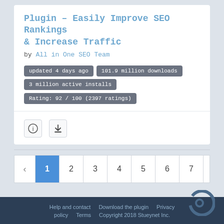Plugin – Easily Improve SEO Rankings &amp; Increase Traffic
by All in One SEO Team
updated 4 days ago
101.9 million downloads
3 million active installs
Rating: 92 / 100 (2397 ratings)
[Figure (infographic): Info icon and download icon buttons]
Pagination: < 1 2 3 4 5 6 7 8 ... 1543 1544
Help and contact   Download the plugin   Privacy policy   Terms   Copyright 2018 Stueynet Inc.